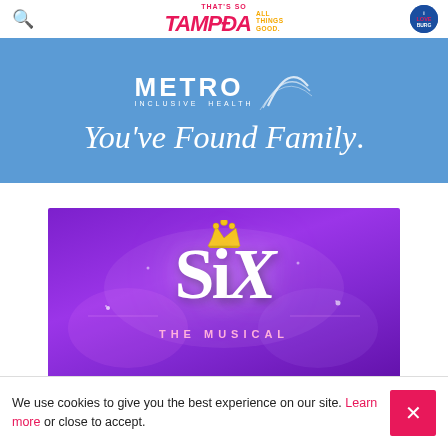That's So Tampa — All Things Good. iLoveBurg
[Figure (advertisement): Metro Inclusive Health banner ad with blue background showing 'METRO INCLUSIVE HEALTH' logo with swirl graphic and text 'You've Found Family.']
[Figure (advertisement): SIX The Musical promotional image on purple gradient background with gold crown, large 'SiX' text, 'THE MUSICAL' subtitle, and 'NOV 1-6 STRAZ CENTER' text at bottom]
We use cookies to give you the best experience on our site. Learn more or close to accept.